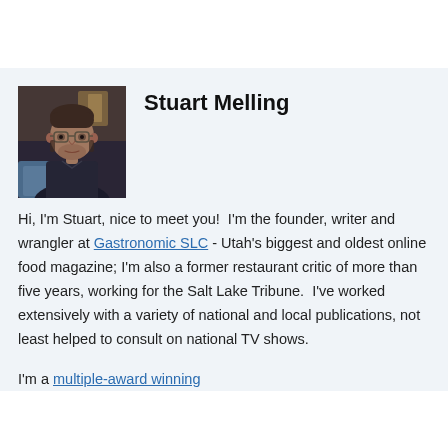[Figure (photo): Portrait photo of Stuart Melling, a man with glasses and short dark hair wearing a dark shirt, seated in what appears to be a restaurant interior]
Stuart Melling
Hi, I'm Stuart, nice to meet you!  I'm the founder, writer and wrangler at Gastronomic SLC - Utah's biggest and oldest online food magazine; I'm also a former restaurant critic of more than five years, working for the Salt Lake Tribune.  I've worked extensively with a variety of national and local publications, not least helped to consult on national TV shows.
I'm a multiple-award winning